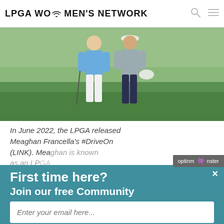LPGA WOMEN'S NETWORK
[Figure (photo): Two women golfers standing together on a golf course, one wearing a blue long-sleeve top and white pants, the other in a gray jacket and dark pants holding a white hat]
In June 2022, the LPGA released Meaghan Francella's #DriveOn story (LINK). Meaghan is known as an LPG... Professional... itself. But f...
[Figure (screenshot): OptinMonster popup overlay with teal background, close button (×), headline 'First time here?', subheading 'Join our free Community', email input field with placeholder 'Enter your email here...', and a SUBSCIRBE button]